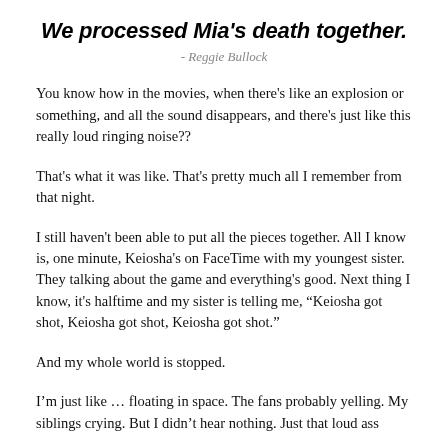We processed Mia's death together.
- Reggie Bullock
You know how in the movies, when there's like an explosion or something, and all the sound disappears, and there's just like this really loud ringing noise??
That's what it was like. That's pretty much all I remember from that night.
I still haven't been able to put all the pieces together. All I know is, one minute, Keiosha's on FaceTime with my youngest sister. They talking about the game and everything's good. Next thing I know, it's halftime and my sister is telling me, “Keiosha got shot, Keiosha got shot, Keiosha got shot.”
And my whole world is stopped.
I'm just like … floating in space. The fans probably yelling. My siblings crying. But I didn't hear nothing. Just that loud ass